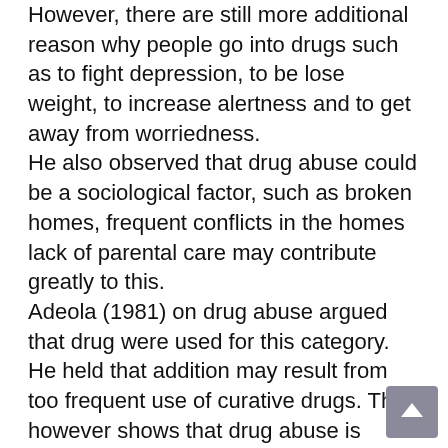However, there are still more additional reason why people go into drugs such as to fight depression, to be lose weight, to increase alertness and to get away from worriedness. He also observed that drug abuse could be a sociological factor, such as broken homes, frequent conflicts in the homes lack of parental care may contribute greatly to this. Adeola (1981) on drug abuse argued that drug were used for this category. He held that addition may result from too frequent use of curative drugs. This however shows that drug abuse is associated with usage in excess of prescribed dosage. Emphatically, it is considered that drug can be classified a addicting and habit forming. Donald (2010) stated that curiosity is one of the strongest reason why people take drugs. Pleasure is another motive of abusing drugs. Ray 2008) declared that student used drugs to keep